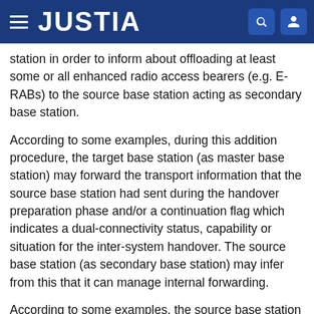JUSTIA
station in order to inform about offloading at least some or all enhanced radio access bearers (e.g. E-RABs) to the source base station acting as secondary base station.
According to some examples, during this addition procedure, the target base station (as master base station) may forward the transport information that the source base station had sent during the handover preparation phase and/or a continuation flag which indicates a dual-connectivity status, capability or situation for the inter-system handover. The source base station (as secondary base station) may infer from this that it can manage internal forwarding.
According to some examples, the source base station may inform the core network that direct forwarding is possible. In this case, the forwarding radio access bearer